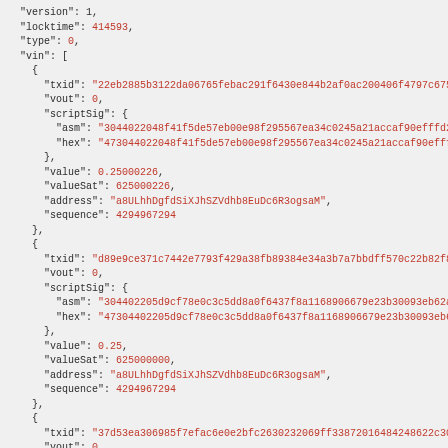JSON code block showing transaction data with version, locktime, type, and vin array containing multiple transaction inputs with txid, vout, scriptSig, value, valueSat, address, and sequence fields.